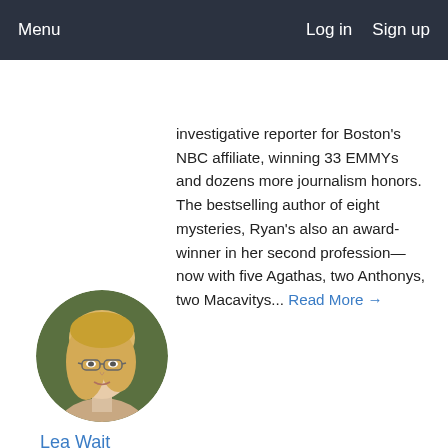Menu   Log in   Sign up
investigative reporter for Boston's NBC affiliate, winning 33 EMMYs and dozens more journalism honors. The bestselling author of eight mysteries, Ryan's also an award-winner in her second profession—now with five Agathas, two Anthonys, two Macavitys... Read More →
[Figure (photo): Circular portrait photo of Lea Wait, a woman with blonde hair and glasses]
Lea Wait
author